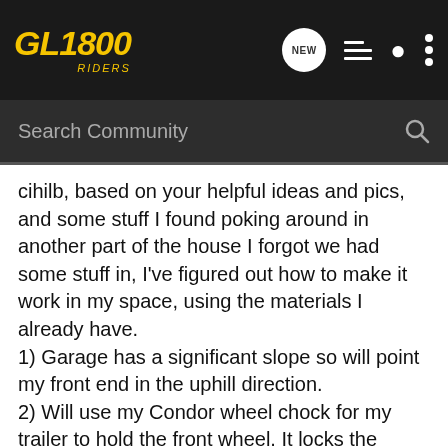GL1800 Riders — Search Community
cihilb, based on your helpful ideas and pics, and some stuff I found poking around in another part of the house I forgot we had some stuff in, I've figured out how to make it work in my space, using the materials I already have.
1) Garage has a significant slope so will point my front end in the uphill direction.
2) Will use my Condor wheel chock for my trailer to hold the front wheel. It locks the whole bike down like a vice, so no concerns there.
3) Will place a 2"x10"x3' board I have under it to raise it higher. Will place another 2"x10"x3' board under the rear wheel as well. I knew keeping thise boards was going to come in handy some day! This gets the whole bike 2" higher right off the bat.
4) Will place my floor jack with about 15" lift and a big 5" diameter lifting plate, under the centerstand crossbar you...